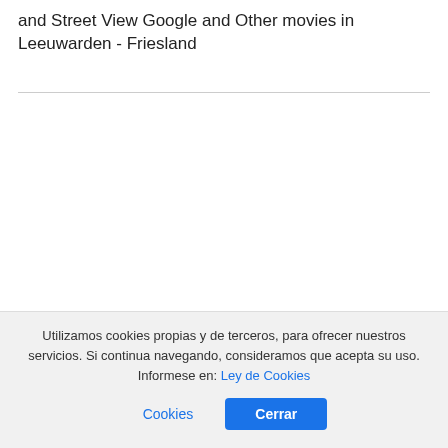and Street View Google and Other movies in Leeuwarden - Friesland
Utilizamos cookies propias y de terceros, para ofrecer nuestros servicios. Si continua navegando, consideramos que acepta su uso. Informese en: Ley de Cookies